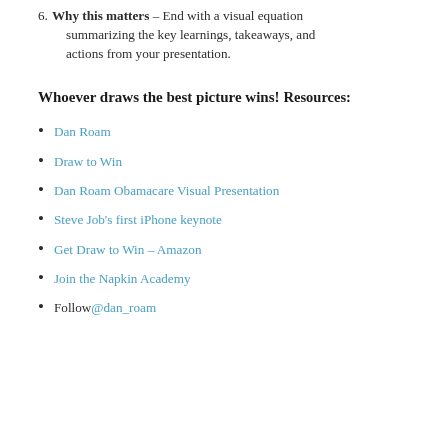6. Why this matters – End with a visual equation summarizing the key learnings, takeaways, and actions from your presentation.
Whoever draws the best picture wins!
Resources:
Dan Roam
Draw to Win
Dan Roam Obamacare Visual Presentation
Steve Job's first iPhone keynote
Get Draw to Win – Amazon
Join the Napkin Academy
Follow @dan_roam